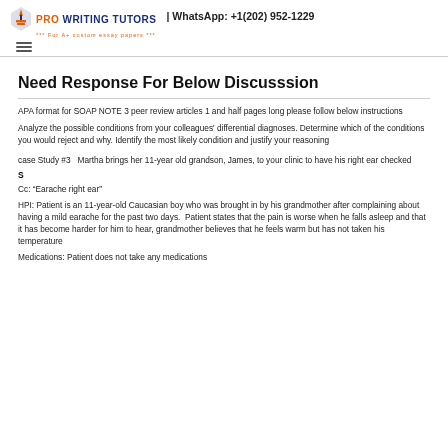PRO WRITING TUTORS | WhatsApp: +1(202) 952-1229
Need Response For Below Discusssion
APA format for SOAP NOTE 3 peer review articles 1 and half pages long please follow below instructions
Analyze the possible conditions from your colleagues' differential diagnoses. Determine which of the conditions you would reject and why. Identify the most likely condition and justify your reasoning
case Study #3   Martha brings her 11-year old grandson, James, to your clinic to have his right ear checked
S
Cc: “Earache right ear”
HPI: Patient is an 11-year-old Caucasian boy who was brought in by his grandmother after complaining about having a mild earache for the past two days.  Patient states that the pain is worse when he falls asleep and that it has become harder for him to hear, grandmother believes that he feels warm but has not taken his temperature
Medications: Patient does not take any medications